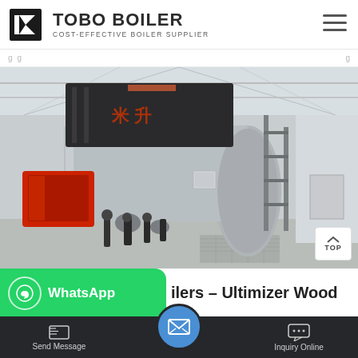[Figure (logo): TOBO BOILER logo with icon and text 'COST-EFFECTIVE BOILER SUPPLIER']
TOBO BOILER — COST-EFFECTIVE BOILER SUPPLIER
[Figure (photo): Large industrial gas-fired boiler in a factory facility with red burner unit, silver cylindrical body, and pipes, inside a white industrial building.]
boilers – Ultimizer Wood
[Figure (screenshot): WhatsApp contact button overlay (green, with phone icon and 'WhatsApp' text), email bubble, Send Message and Inquiry Online bottom toolbar]